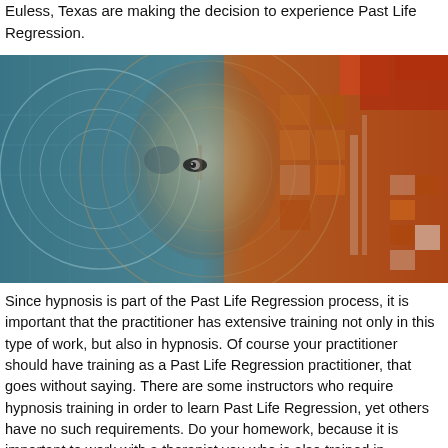Euless, Texas are making the decision to experience Past Life Regression.
[Figure (photo): Abstract digital art showing a human face split between cool blue-teal tones on the left with circular geometric overlays and warm orange-red tones on the right with grid/pixel patterns, suggesting duality of mind or consciousness.]
Since hypnosis is part of the Past Life Regression process, it is important that the practitioner has extensive training not only in this type of work, but also in hypnosis. Of course your practitioner should have training as a Past Life Regression practitioner, that goes without saying. There are some instructors who require hypnosis training in order to learn Past Life Regression, yet others have no such requirements. Do your homework, because it is important to work with a therapist you who is also trained in Hypnotherapy. This is important in both in person and Online Past Life Regression sessions, because the experience includes hypnosis as a way of accessing the past life memories. A Past Life Regression experience can be a powerful life